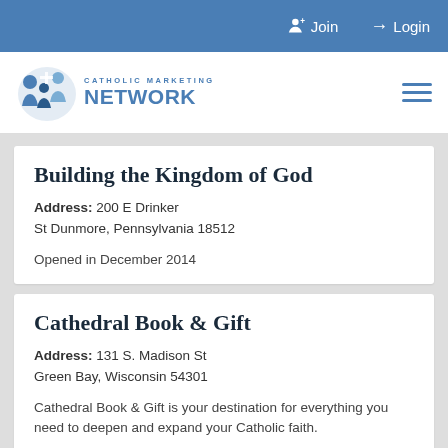Join  Login
[Figure (logo): Catholic Marketing Network logo with stylized people icon and blue text]
Building the Kingdom of God
Address: 200 E Drinker St Dunmore, Pennsylvania 18512
Opened in December 2014
Cathedral Book & Gift
Address: 131 S. Madison St Green Bay, Wisconsin 54301
Cathedral Book & Gift is your destination for everything you need to deepen and expand your Catholic faith.